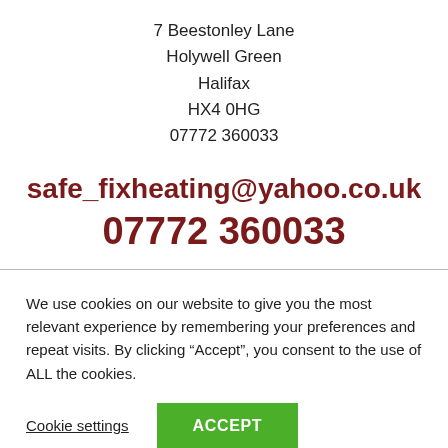7 Beestonley Lane
Holywell Green
Halifax
HX4 0HG
07772 360033
safe_fixheating@yahoo.co.uk
07772 360033
We use cookies on our website to give you the most relevant experience by remembering your preferences and repeat visits. By clicking “Accept”, you consent to the use of ALL the cookies.
Cookie settings
ACCEPT